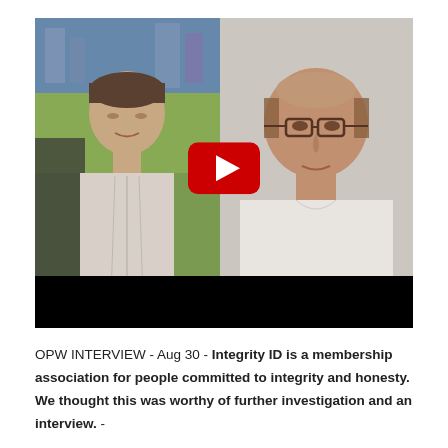[Figure (screenshot): Video thumbnail showing two men in a side-by-side video call layout with a YouTube play button overlay in the center and a black bar at the bottom.]
OPW INTERVIEW - Aug 30 - Integrity ID is a membership association for people committed to integrity and honesty. We thought this was worthy of further investigation and an interview. -